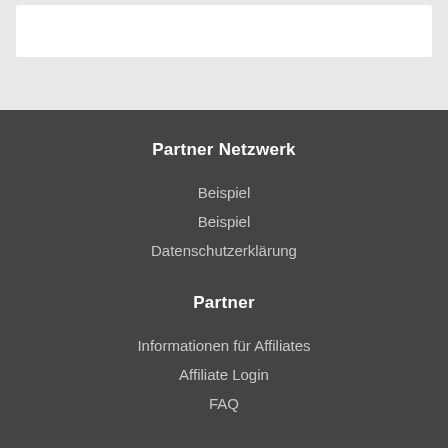Partner Netzwerk
Beispiel
Beispiel
Datenschutzerklärung
Partner
Informationen für Affiliates
Affiliate Login
FAQ